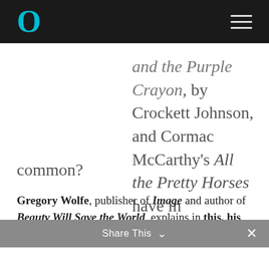O
and the Purple Crayon, by Crockett Johnson, and Cormac McCarthy's All the Pretty Horses have in common?
Gregory Wolfe, publisher of Image and author of Beauty Will Save the World, explains in this, his